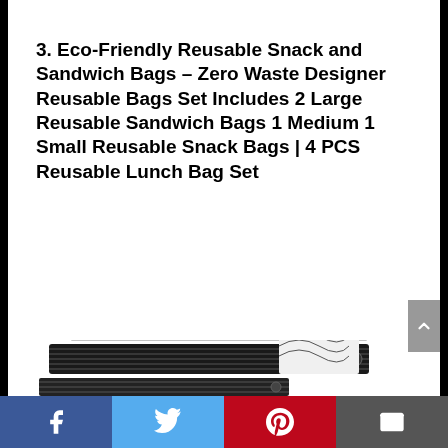3. Eco-Friendly Reusable Snack and Sandwich Bags – Zero Waste Designer Reusable Bags Set Includes 2 Large Reusable Sandwich Bags 1 Medium 1 Small Reusable Snack Bags | 4 PCS Reusable Lunch Bag Set
[Figure (photo): Product photo showing a set of eco-friendly reusable sandwich and snack bags with black and white striped design, stacked on top of each other.]
Facebook | Twitter | Pinterest | Email